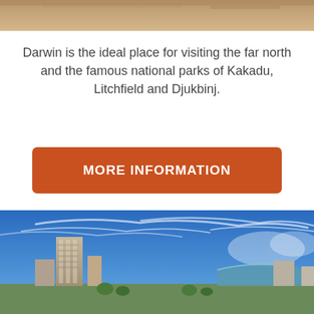[Figure (photo): Top portion of a sandy/earthy landscape photo, partially cropped at the top of the page]
Darwin is the ideal place for visiting the far north and the famous national parks of Kakadu, Litchfield and Djukbinj.
[Figure (other): Orange button with white bold text reading MORE INFORMATION]
[Figure (photo): City skyline with tall residential and commercial buildings under a vivid blue sky with wispy clouds; a curved glass-fronted building is visible on the right]